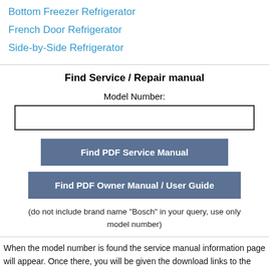Bottom Freezer Refrigerator
French Door Refrigerator
Side-by-Side Refrigerator
Find Service / Repair manual
Model Number:
Find PDF Service Manual
Find PDF Owner Manual / User Guide
(do not include brand name "Bosch" in your query, use only model number)
When the model number is found the service manual information page will appear. Once there, you will be given the download links to the